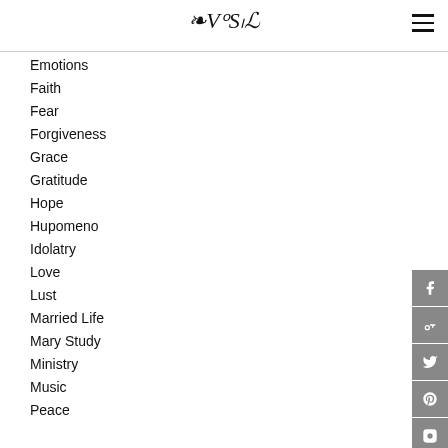VSL logo and hamburger menu
Emotions
Faith
Fear
Forgiveness
Grace
Gratitude
Hope
Hupomeno
Idolatry
Love
Lust
Married Life
Mary Study
Ministry
Music
Peace